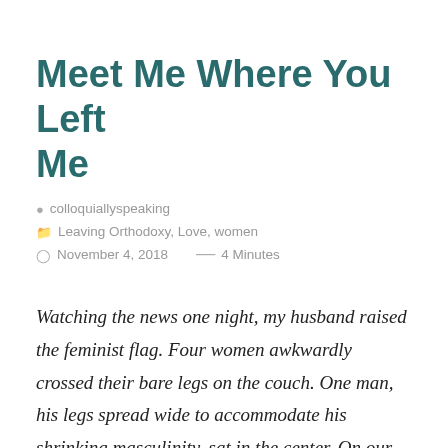Meet Me Where You Left Me
colloquiallyspeaking
Leaving Orthodoxy, Love, women
November 4, 2018   4 Minutes
Watching the news one night, my husband raised the feminist flag. Four women awkwardly crossed their bare legs on the couch. One man, his legs spread wide to accommodate his shrinking masculinity, sat in the center. On our side of the screen, my husband squirmed and called it out. And I rolled my eyes.